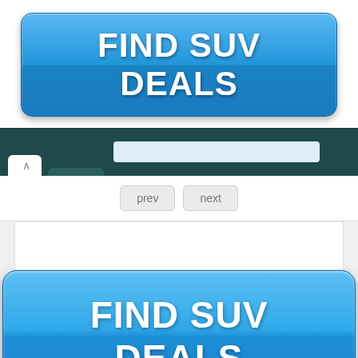[Figure (screenshot): A blue button labeled FIND SUV DEALS shown as a UI element preview at the top of the page]
[Figure (screenshot): Browser interface showing navigation bar with prev/next buttons and a large blue FIND SUV DEALS button inside a white content area]